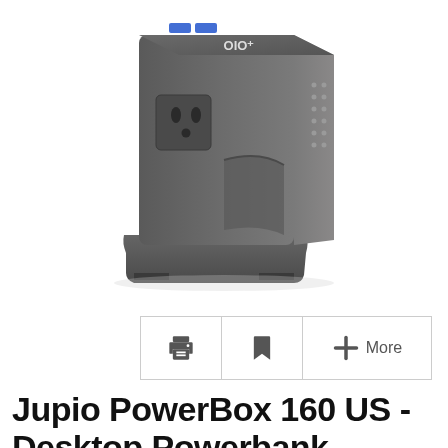[Figure (photo): Jupio PowerBox 160 US desktop powerbank device, dark grey/charcoal color, with USB ports on top and AC outlet on front, sitting on a stand base, photographed on white background]
[Figure (infographic): Toolbar with three buttons: print icon, bookmark icon, and plus More button]
Jupio PowerBox 160 US - Desktop Powerbank